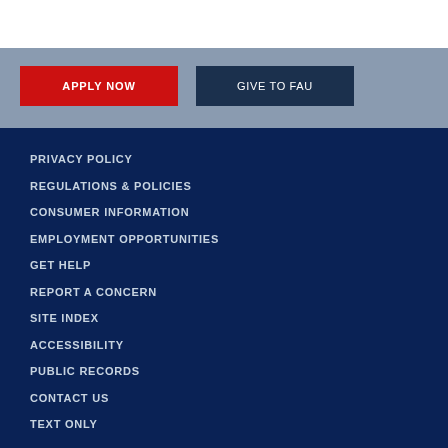APPLY NOW
GIVE TO FAU
PRIVACY POLICY
REGULATIONS & POLICIES
CONSUMER INFORMATION
EMPLOYMENT OPPORTUNITIES
GET HELP
REPORT A CONCERN
SITE INDEX
ACCESSIBILITY
PUBLIC RECORDS
CONTACT US
TEXT ONLY